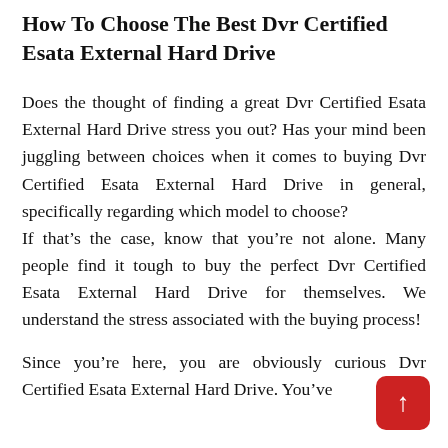How To Choose The Best Dvr Certified Esata External Hard Drive
Does the thought of finding a great Dvr Certified Esata External Hard Drive stress you out? Has your mind been juggling between choices when it comes to buying Dvr Certified Esata External Hard Drive in general, specifically regarding which model to choose?
If that’s the case, know that you’re not alone. Many people find it tough to buy the perfect Dvr Certified Esata External Hard Drive for themselves. We understand the stress associated with the buying process!
Since you’re here, you are obviously curious Dvr Certified Esata External Hard Drive. You’ve